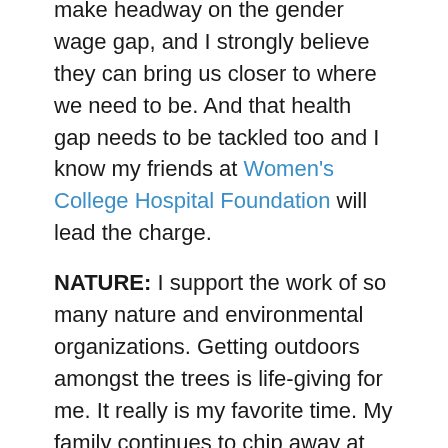make headway on the gender wage gap, and I strongly believe they can bring us closer to where we need to be. And that health gap needs to be tackled too and I know my friends at Women's College Hospital Foundation will lead the charge.
NATURE: I support the work of so many nature and environmental organizations. Getting outdoors amongst the trees is life-giving for me. It really is my favorite time. My family continues to chip away at our goal of walking the Bruce Trail end to end. This summer we did the Tobermory end which was beyond beautiful and so different than the part located just beyond our backyard. While we walk, we talk about nature, the environment and how we can protect it. My 10-year-old is learning to be an environmentalist. One of the organizations I have